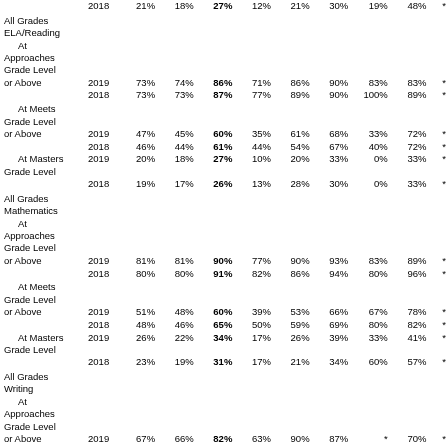| Category | Year | Col1 | Col2(bold) | Col3 | Col4 | Col5 | Col6 | Col7 | Col8 | * |
| --- | --- | --- | --- | --- | --- | --- | --- | --- | --- | --- |
|  | 2018 | 21% | 18% | 27% | 12% | 21% | 30% | 19% | 48% | * |
| All Grades ELA/Reading At Approaches Grade Level or Above | 2019 | 73% | 74% | 86% | 71% | 86% | 90% | 83% | 83% | * |
|  | 2018 | 73% | 73% | 87% | 77% | 89% | 90% | 100% | 89% | * |
| At Meets Grade Level or Above | 2019 | 47% | 45% | 60% | 35% | 61% | 68% | 33% | 72% | * |
|  | 2018 | 46% | 44% | 61% | 44% | 54% | 67% | 40% | 72% | * |
| At Masters Grade Level | 2019 | 20% | 18% | 27% | 10% | 20% | 33% | 0% | 33% | * |
|  | 2018 | 19% | 17% | 26% | 13% | 28% | 30% | 0% | 33% | * |
| All Grades Mathematics At Approaches Grade Level or Above | 2019 | 81% | 81% | 90% | 77% | 90% | 93% | 83% | 89% | * |
|  | 2018 | 80% | 80% | 91% | 82% | 86% | 94% | 80% | 96% | * |
| At Meets Grade Level or Above | 2019 | 51% | 48% | 60% | 39% | 53% | 66% | 67% | 78% | * |
|  | 2018 | 48% | 46% | 65% | 50% | 59% | 69% | 80% | 82% | * |
| At Masters Grade Level | 2019 | 26% | 22% | 34% | 17% | 26% | 39% | 33% | 41% | * |
|  | 2018 | 23% | 19% | 31% | 17% | 21% | 34% | 60% | 57% | * |
| All Grades Writing At Approaches Grade Level or Above | 2019 | 67% | 66% | 82% | 63% | 90% | 87% | * | 70% | * |